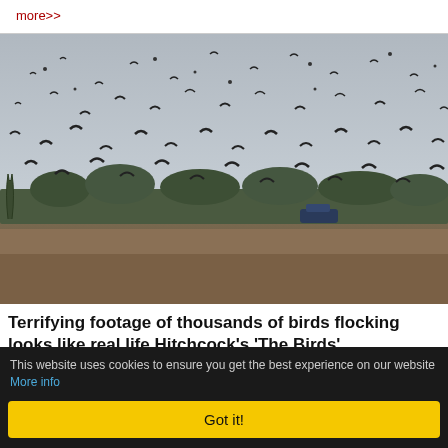more>>
[Figure (photo): Thousands of birds (starlings or similar) flocking in a large murmuration over an open field with trees in the background and a car visible. Overcast grey sky.]
Terrifying footage of thousands of birds flocking looks like real life Hitchcock's 'The Birds'
This website uses cookies to ensure you get the best experience on our website More info
Got it!